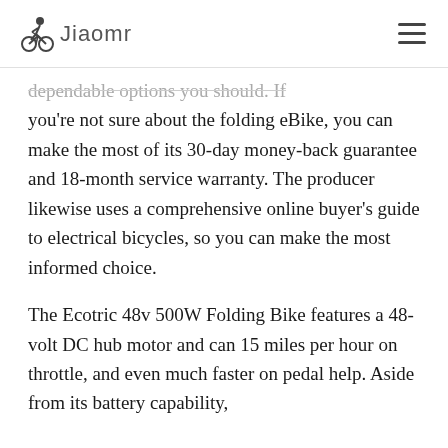Jiaomr
dependable options you should. If you're not sure about the folding eBike, you can make the most of its 30-day money-back guarantee and 18-month service warranty. The producer likewise uses a comprehensive online buyer's guide to electrical bicycles, so you can make the most informed choice.
The Ecotric 48v 500W Folding Bike features a 48-volt DC hub motor and can 15 miles per hour on throttle, and even much faster on pedal help. Aside from its battery capability,